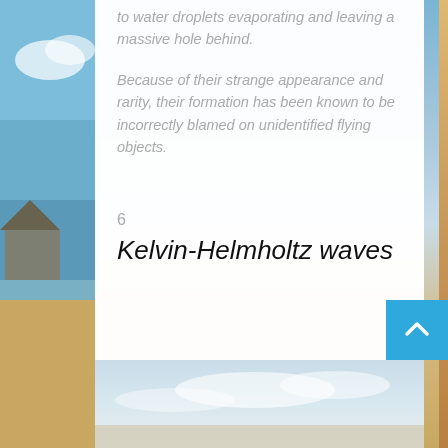to water droplets evaporating and leaving a massive hole behind.
Because of their strange appearance and rarity, their formation has been known to be incorrectly blamed on unidentified flying objects.
6
Kelvin-Helmholtz waves
[Figure (photo): Bottom portion of a photo showing sky with clouds, partial beach scene]